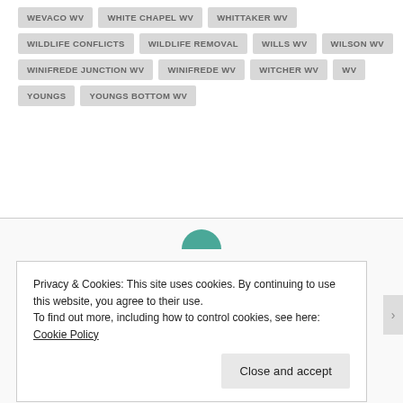WEVACO WV
WHITE CHAPEL WV
WHITTAKER WV
WILDLIFE CONFLICTS
WILDLIFE REMOVAL
WILLS WV
WILSON WV
WINIFREDE JUNCTION WV
WINIFREDE WV
WITCHER WV
WV
YOUNGS
YOUNGS BOTTOM WV
Privacy & Cookies: This site uses cookies. By continuing to use this website, you agree to their use.
To find out more, including how to control cookies, see here: Cookie Policy
Close and accept